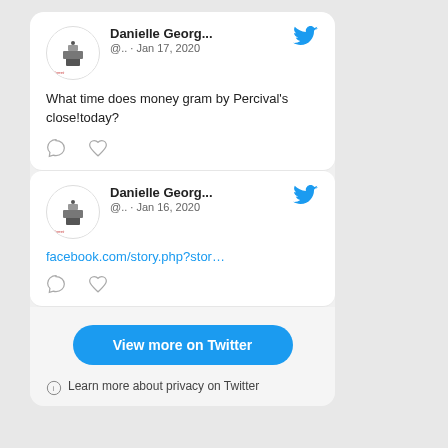Danielle Georg... @.. · Jan 17, 2020
What time does money gram by Percival's close!today?
Danielle Georg... @.. · Jan 16, 2020
facebook.com/story.php?stor…
View more on Twitter
Learn more about privacy on Twitter